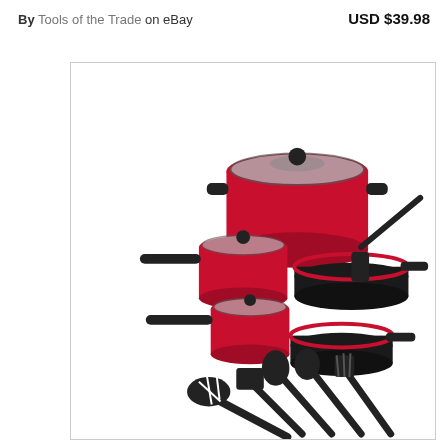By Tools of the Trade on eBay
USD $39.98
[Figure (photo): Red and black cookware set including pots with glass lids, frying pans, and black nylon kitchen utensils (spatulas, spoons, ladle, pasta fork) arranged on white background]